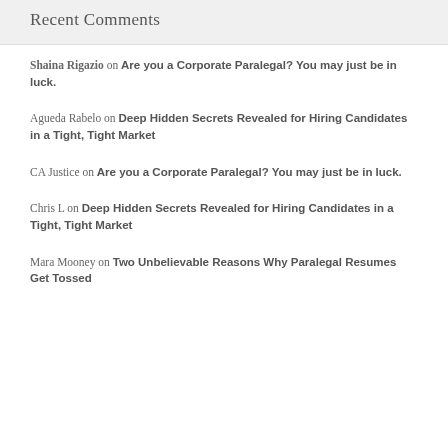Recent Comments
Shaina Rigazio on Are you a Corporate Paralegal? You may just be in luck.
Agueda Rabelo on Deep Hidden Secrets Revealed for Hiring Candidates in a Tight, Tight Market
CA Justice on Are you a Corporate Paralegal? You may just be in luck.
Chris L on Deep Hidden Secrets Revealed for Hiring Candidates in a Tight, Tight Market
Mara Mooney on Two Unbelievable Reasons Why Paralegal Resumes Get Tossed